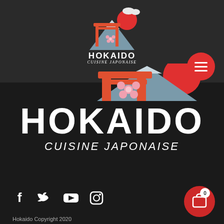[Figure (logo): Hokaido Cuisine Japonaise logo in header — torii gate, mountain, cherry blossom, sun illustration with HOKAIDO text and Cuisine Japonaise subtitle]
[Figure (logo): Large Hokaido Cuisine Japonaise logo centered on dark background — partial torii gate and mountain illustration above large white HOKAIDO bold text and italic Cuisine Japonaise subtitle]
[Figure (infographic): Red circular hamburger/menu button with three white lines, top right of header]
[Figure (infographic): Social media icons row: Facebook, Twitter, YouTube, Instagram — white icons on dark background]
[Figure (infographic): Red circular cart/shopping bag button with badge showing 0, bottom right]
Hokaido Copyright 2020